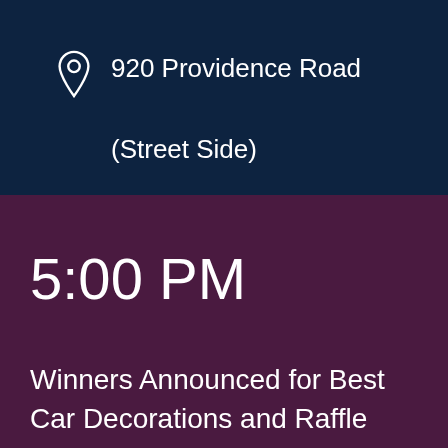920 Providence Road
(Street Side)
5:00 PM
Winners Announced for Best Car Decorations and Raffle